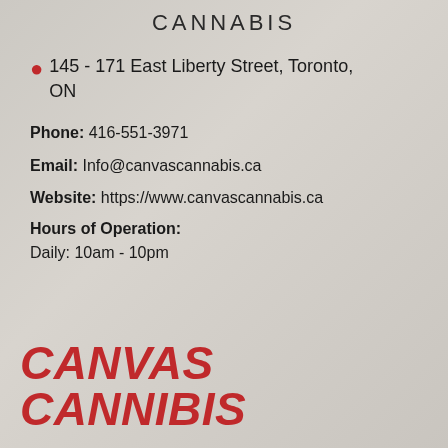CANNABIS
145 - 171 East Liberty Street, Toronto, ON
Phone: 416-551-3971
Email: Info@canvascannabis.ca
Website: https://www.canvascannabis.ca
Hours of Operation:
Daily: 10am - 10pm
CANVAS CANNIBIS